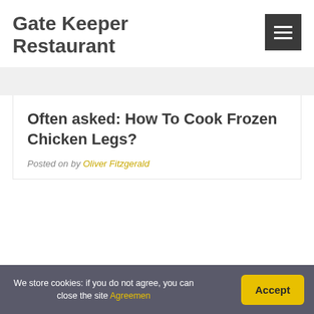Gate Keeper Restaurant
Often asked: How To Cook Frozen Chicken Legs?
Posted on by Oliver Fitzgerald
We store cookies: if you do not agree, you can close the site Agreemen